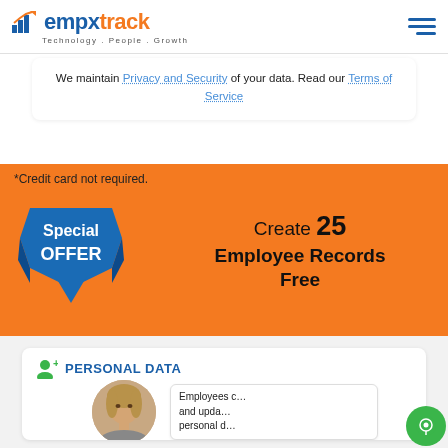empxtrack — Technology. People. Growth.
We maintain Privacy and Security of your data. Read our Terms of Service
*Credit card not required.
[Figure (illustration): Blue angular ribbon badge with text 'Special OFFER']
Create 25 Employee Records Free
PERSONAL DATA
[Figure (photo): Circular cropped photo of a woman with short blonde hair]
Employees c… and upda… personal d…
[Figure (other): Green circular chat button with white chat icon]